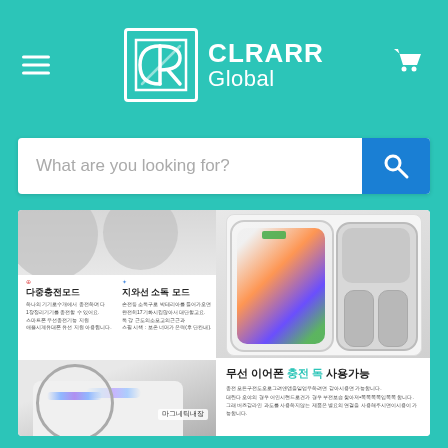CLRARR Global
What are you looking for?
[Figure (screenshot): Product page showing a UV sanitizer/wireless charger device with Korean text describing features: 다중충전모드 (multi-charging mode), 지와선 소독 모드 (UV sterilization mode), 마그네틱내장 (built-in magnetic), 무선 이어폰 충전 독 사용가능 (wireless earphone charging dock available). Product images show device with phone and AirPods inside, and a close-up of the UV light feature.]